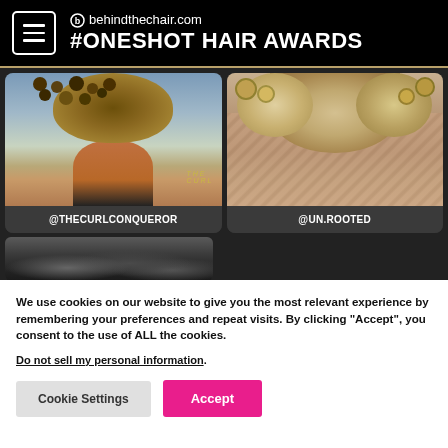behindthechair.com #ONESHOT HAIR AWARDS
[Figure (photo): Photo grid showing hairstyling competition entries: left card shows tight curly updo from behind with text 'THE CURL' overlay labeled @THECURLCONQUEROR; right card shows wavy/curly blonde highlighted hair from behind labeled @UN.ROOTED; bottom partial card shows dark curly hair from behind]
We use cookies on our website to give you the most relevant experience by remembering your preferences and repeat visits. By clicking "Accept", you consent to the use of ALL the cookies.
Do not sell my personal information.
Cookie Settings  Accept